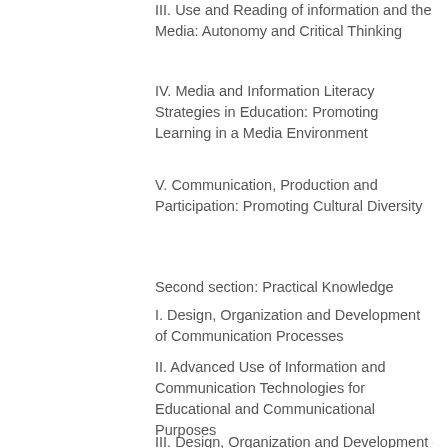III. Use and Reading of information and the Media: Autonomy and Critical Thinking
IV. Media and Information Literacy Strategies in Education: Promoting Learning in a Media Environment
V. Communication, Production and Participation: Promoting Cultural Diversity
Second section: Practical Knowledge
I. Design, Organization and Development of Communication Processes
II. Advanced Use of Information and Communication Technologies for Educational and Communicational Purposes
III. Design, Organization and Development of School and Educational Media
IV. Design, Organization and Development of Educational Activities Relating to Media Education
V. Design and Application of Media Literacy Assessment Systems
Though media literacy was worked on together with information literacy in the study in question, significant